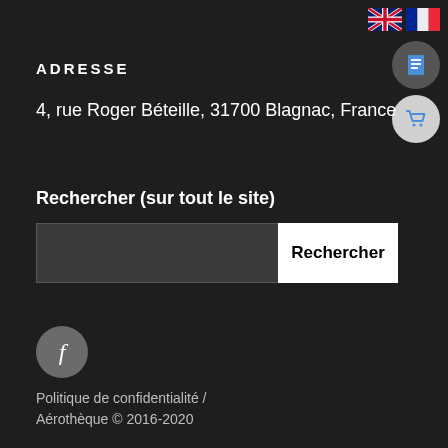[Figure (other): UK and French flag icons top right, with a dark document icon button and a light shopping cart icon button]
ADRESSE
4, rue Roger Béteille, 31700 Blagnac, France
Rechercher (sur tout le site)
[Figure (other): Search input field (dark) and Rechercher (search) button (white)]
[Figure (other): Facebook icon button (grey circle with f)]
Politique de confidentialité  /
Aérothèque © 2016-2020